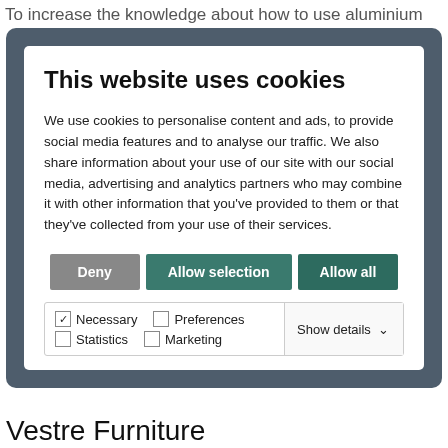To increase the knowledge about how to use aluminium
This website uses cookies
We use cookies to personalise content and ads, to provide social media features and to analyse our traffic. We also share information about your use of our site with our social media, advertising and analytics partners who may combine it with other information that you've provided to them or that they've collected from your use of their services.
Deny | Allow selection | Allow all
Necessary | Preferences | Statistics | Marketing | Show details
Vestre Furniture
Recommended for you